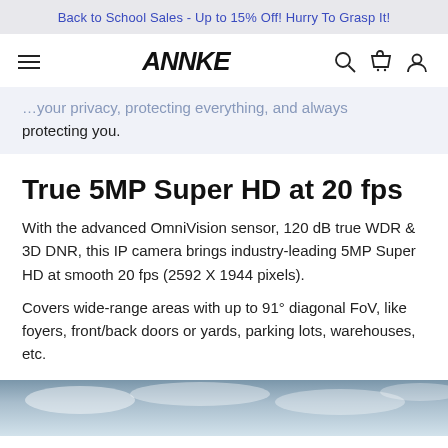Back to School Sales - Up to 15% Off! Hurry To Grasp It!
[Figure (logo): ANNKE logo with hamburger menu and navigation icons (search, cart, user)]
protecting you.
True 5MP Super HD at 20 fps
With the advanced OmniVision sensor, 120 dB true WDR & 3D DNR, this IP camera brings industry-leading 5MP Super HD at smooth 20 fps (2592 X 1944 pixels).
Covers wide-range areas with up to 91° diagonal FoV, like foyers, front/back doors or yards, parking lots, warehouses, etc.
[Figure (photo): Partial sky/outdoor scene photo at bottom of page]